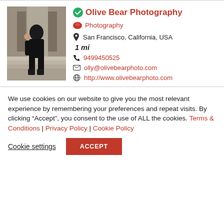[Figure (photo): Profile photo of a person in dark clothing sitting on steps]
Olive Bear Photography
Photography
San Francisco, California, USA
1 mi
9499450525
olly@olivebearphoto.com
http://www.olivebearphoto.com
We use cookies on our website to give you the most relevant experience by remembering your preferences and repeat visits. By clicking “Accept”, you consent to the use of ALL the cookies. Terms & Conditions | Privacy Policy | Cookie Policy
Cookie settings
ACCEPT